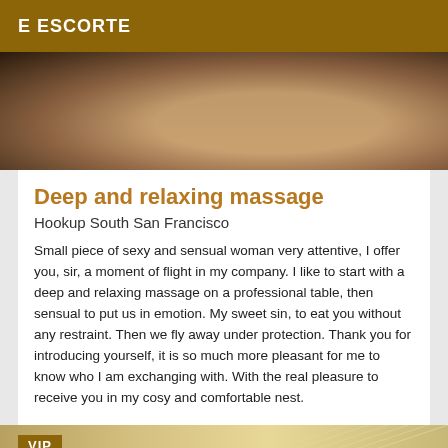E ESCORTE
[Figure (photo): Close-up photo of a woman lying down, dark hair, bare shoulder, warm tones]
Deep and relaxing massage
Hookup South San Francisco
Small piece of sexy and sensual woman very attentive, I offer you, sir, a moment of flight in my company. I like to start with a deep and relaxing massage on a professional table, then sensual to put us in emotion. My sweet sin, to eat you without any restraint. Then we fly away under protection. Thank you for introducing yourself, it is so much more pleasant for me to know who I am exchanging with. With the real pleasure to receive you in my cosy and comfortable nest.
[Figure (photo): Bottom portion of a decorative image with VIP badge, warm golden tones with radiating lines]